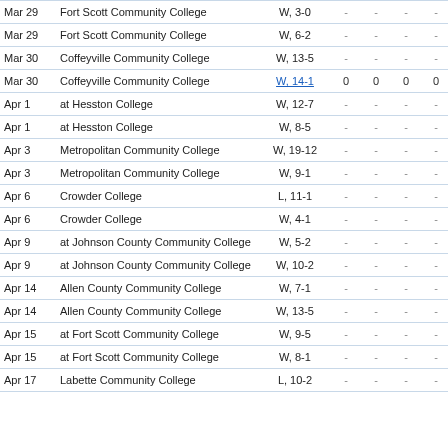| Date | Opponent | Score |  |  |  |  |  |
| --- | --- | --- | --- | --- | --- | --- | --- |
| Mar 29 | Fort Scott Community College | W, 3-0 | - | - | - | - | - |
| Mar 29 | Fort Scott Community College | W, 6-2 | - | - | - | - | - |
| Mar 30 | Coffeyville Community College | W, 13-5 | - | - | - | - | - |
| Mar 30 | Coffeyville Community College | W, 14-1 | 0 | 0 | 0 | 0 | 0.0 |
| Apr 1 | at Hesston College | W, 12-7 | - | - | - | - | - |
| Apr 1 | at Hesston College | W, 8-5 | - | - | - | - | - |
| Apr 3 | Metropolitan Community College | W, 19-12 | - | - | - | - | - |
| Apr 3 | Metropolitan Community College | W, 9-1 | - | - | - | - | - |
| Apr 6 | Crowder College | L, 11-1 | - | - | - | - | - |
| Apr 6 | Crowder College | W, 4-1 | - | - | - | - | - |
| Apr 9 | at Johnson County Community College | W, 5-2 | - | - | - | - | - |
| Apr 9 | at Johnson County Community College | W, 10-2 | - | - | - | - | - |
| Apr 14 | Allen County Community College | W, 7-1 | - | - | - | - | - |
| Apr 14 | Allen County Community College | W, 13-5 | - | - | - | - | - |
| Apr 15 | at Fort Scott Community College | W, 9-5 | - | - | - | - | - |
| Apr 15 | at Fort Scott Community College | W, 8-1 | - | - | - | - | - |
| Apr 17 | Labette Community College | L, 10-2 | - | - | - | - | - |